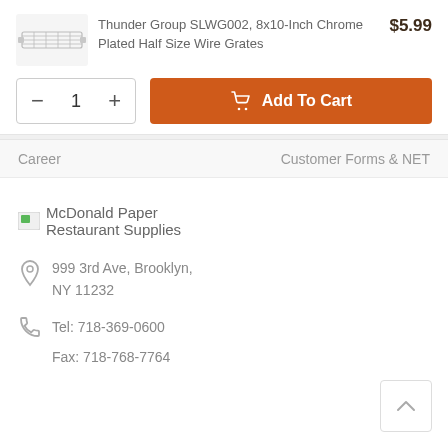[Figure (photo): Product image of a chrome plated wire grate, small rectangular metallic grid]
Thunder Group SLWG002, 8x10-Inch Chrome Plated Half Size Wire Grates
$5.99
- 1 +
Add To Cart
Career
Customer Forms & NET
[Figure (logo): McDonald Paper Restaurant Supplies logo with small green icon]
999 3rd Ave, Brooklyn, NY 11232
Tel: 718-369-0600
Fax: 718-768-7764